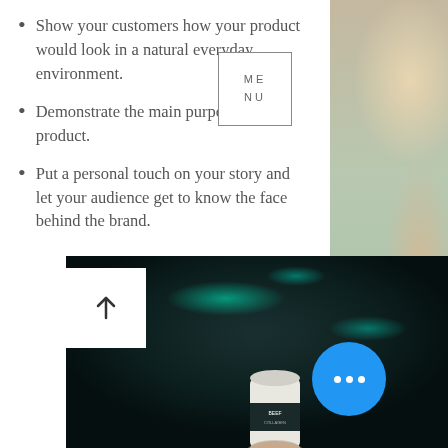Show your customers how your product would look in a natural everyday environment.
Demonstrate the main purpose of your product.
Put a personal touch on your story and let your audience get to know the face behind the brand.
[Figure (photo): Dark blurred background with teal glowing keyboard elements, and a hand holding a small product canister at the bottom. A white square upload icon with upward arrow is overlaid at bottom-left, and a blue circle with three dots at bottom-right.]
[Figure (photo): Right side partial photo of a person with blonde hair against a colorful map background.]